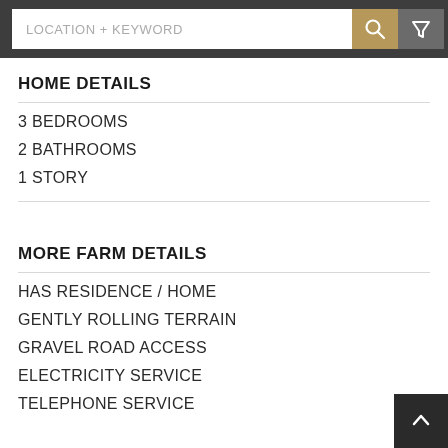LOCATION + KEYWORD
HOME DETAILS
3 BEDROOMS
2 BATHROOMS
1 STORY
MORE FARM DETAILS
HAS RESIDENCE / HOME
GENTLY ROLLING TERRAIN
GRAVEL ROAD ACCESS
ELECTRICITY SERVICE
TELEPHONE SERVICE